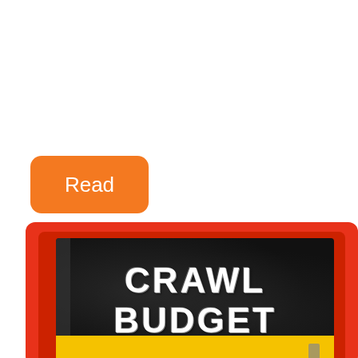[Figure (screenshot): Orange rounded rectangle button with white text 'Read']
[Figure (illustration): Book cover with dark textured background showing 'CRAWL BUDGET' in bold distressed white text, framed by red/orange border with yellow bar at bottom]